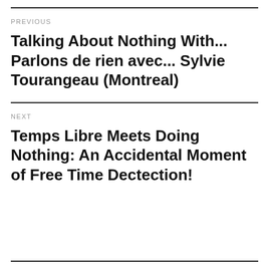PREVIOUS
Talking About Nothing With... Parlons de rien avec... Sylvie Tourangeau (Montreal)
NEXT
Temps Libre Meets Doing Nothing: An Accidental Moment of Free Time Dectection!